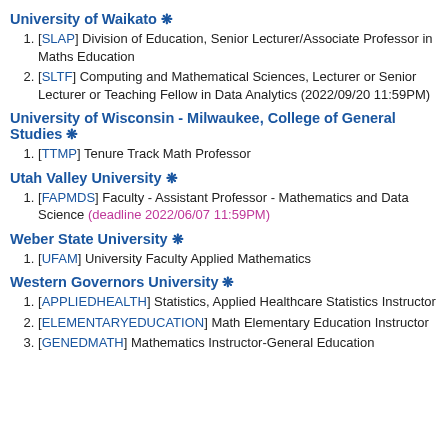University of Waikato ❋
[SLAP] Division of Education, Senior Lecturer/Associate Professor in Maths Education
[SLTF] Computing and Mathematical Sciences, Lecturer or Senior Lecturer or Teaching Fellow in Data Analytics (2022/09/20 11:59PM)
University of Wisconsin - Milwaukee, College of General Studies ❋
[TTMP] Tenure Track Math Professor
Utah Valley University ❋
[FAPMDS] Faculty - Assistant Professor - Mathematics and Data Science (deadline 2022/06/07 11:59PM)
Weber State University ❋
[UFAM] University Faculty Applied Mathematics
Western Governors University ❋
[APPLIEDHEALTH] Statistics, Applied Healthcare Statistics Instructor
[ELEMENTARYEDUCATION] Math Elementary Education Instructor
[GENEDMATH] Mathematics Instructor-General Education